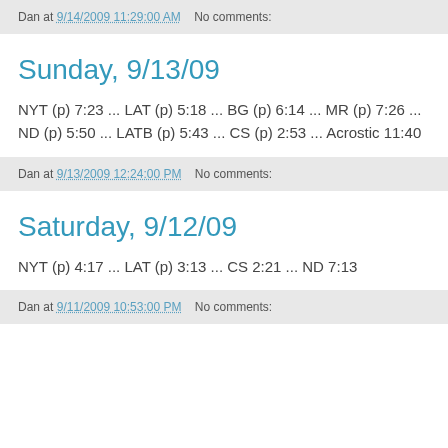Dan at 9/14/2009 11:29:00 AM   No comments:
Sunday, 9/13/09
NYT (p) 7:23 ... LAT (p) 5:18 ... BG (p) 6:14 ... MR (p) 7:26 ... ND (p) 5:50 ... LATB (p) 5:43 ... CS (p) 2:53 ... Acrostic 11:40
Dan at 9/13/2009 12:24:00 PM   No comments:
Saturday, 9/12/09
NYT (p) 4:17 ... LAT (p) 3:13 ... CS 2:21 ... ND 7:13
Dan at 9/11/2009 10:53:00 PM   No comments: